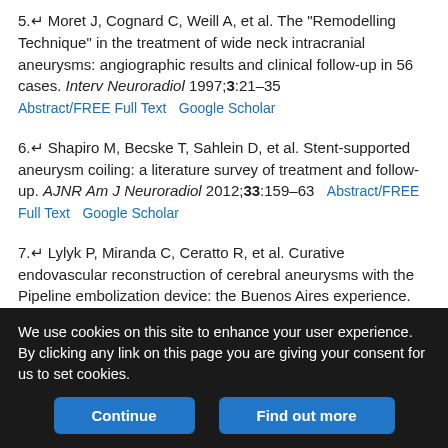5. Moret J, Cognard C, Weill A, et al. The "Remodelling Technique" in the treatment of wide neck intracranial aneurysms: angiographic results and clinical follow-up in 56 cases. Interv Neuroradiol 1997;3:21–35 [Abstract/FREE Full Text] [Google Scholar]
6. Shapiro M, Becske T, Sahlein D, et al. Stent-supported aneurysm coiling: a literature survey of treatment and follow-up. AJNR Am J Neuroradiol 2012;33:159–63 [Abstract/FREE Full Text] [Google Scholar]
7. Lylyk P, Miranda C, Ceratto R, et al. Curative endovascular reconstruction of cerebral aneurysms with the Pipeline embolization device: the Buenos Aires experience. Neurosurgery 2009;64:632–42; discussion 642–43; quiz N6 [CrossRef] [PubMed] [Google Scholar]
8. Lubicz B, Collignon L, Raphaeli G, et al. Flow-diverter stent for the endovascular treatment of intracranial aneurysms: a prospective study in 29 patients with 34 aneurysms. Stroke 2010;41:2247–53
We use cookies on this site to enhance your user experience. By clicking any link on this page you are giving your consent for us to set cookies.